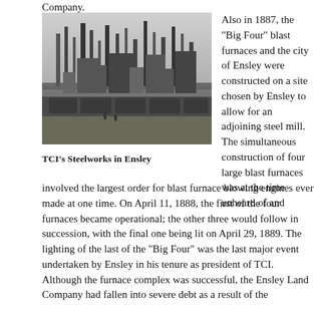Company.
[Figure (photo): Black and white photograph of TCI's Steelworks in Ensley, showing industrial blast furnaces, smokestacks, and rail cars in the foreground.]
TCI's Steelworks in Ensley
Also in 1887, the "Big Four" blast furnaces and the city of Ensley were constructed on a site chosen by Ensley to allow for an adjoining steel mill. The simultaneous construction of four large blast furnaces was at the time unheard of and involved the largest order for blast furnace blowing engines ever made at one time. On April 11, 1888, the first of the four furnaces became operational; the other three would follow in succession, with the final one being lit on April 29, 1889. The lighting of the last of the "Big Four" was the last major event undertaken by Ensley in his tenure as president of TCI. Although the furnace complex was successful, the Ensley Land Company had fallen into severe debt as a result of the